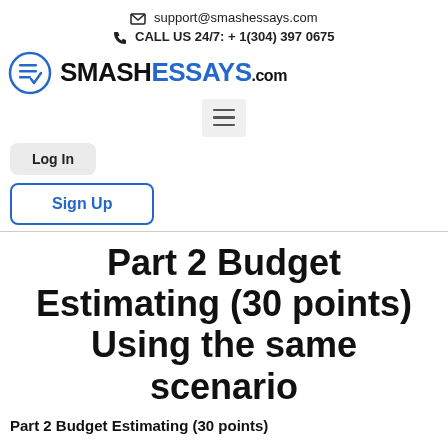✉ support@smashessays.com
☎ CALL US 24/7: + 1(304) 397 0675
[Figure (logo): SmashEssays.com logo with circular icon containing stacked lines and a checkmark]
[Figure (other): Hamburger menu button (three horizontal lines)]
Log In
Sign Up
Part 2 Budget Estimating (30 points) Using the same scenario
Part 2 Budget Estimating (30 points)